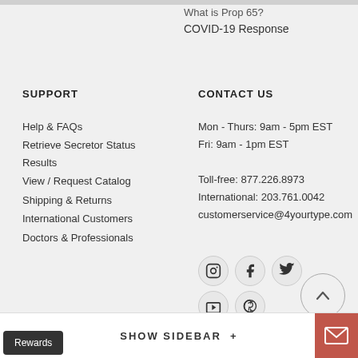What is Prop 65?
COVID-19 Response
SUPPORT
CONTACT US
Help & FAQs
Retrieve Secretor Status Results
View / Request Catalog
Shipping & Returns
International Customers
Doctors & Professionals
Mon - Thurs: 9am - 5pm EST
Fri: 9am - 1pm EST

Toll-free: 877.226.8973
International: 203.761.0042
customerservice@4yourtype.com
[Figure (infographic): Social media icons in circles: Instagram, Facebook, Twitter, YouTube, Pinterest]
[Figure (other): Scroll-to-top button circle with upward chevron arrow]
SHOW SIDEBAR +
Rewards
[Figure (other): Mail envelope icon button in red/salmon square]